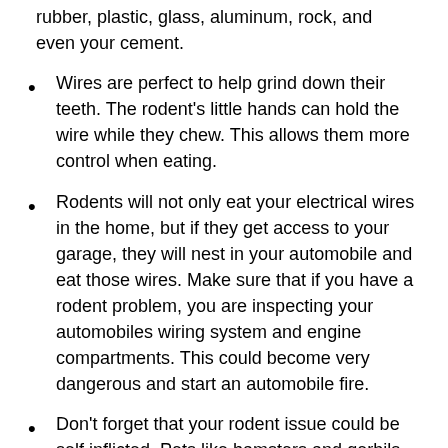rubber, plastic, glass, aluminum, rock, and even your cement.
Wires are perfect to help grind down their teeth. The rodent's little hands can hold the wire while they chew. This allows them more control when eating.
Rodents will not only eat your electrical wires in the home, but if they get access to your garage, they will nest in your automobile and eat those wires. Make sure that if you have a rodent problem, you are inspecting your automobiles wiring system and engine compartments. This could become very dangerous and start an automobile fire.
Don't forget that your rodent issue could be self inflicted. Pets like hamsters and gerbils have a knack of escaping and finding places to hide.